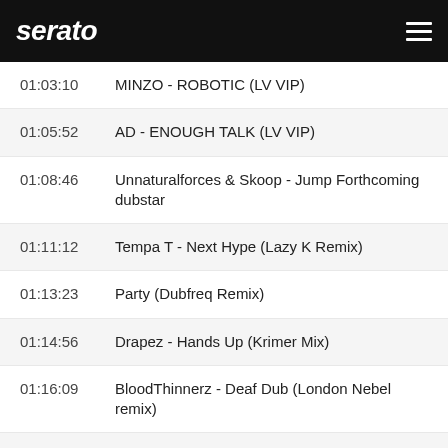serato
| Time | Track |
| --- | --- |
| 01:03:10 | MINZO - ROBOTIC (LV VIP) |
| 01:05:52 | AD - ENOUGH TALK (LV VIP) |
| 01:08:46 | Unnaturalforces & Skoop - Jump Forthcoming dubstar |
| 01:11:12 | Tempa T - Next Hype (Lazy K Remix) |
| 01:13:23 | Party (Dubfreq Remix) |
| 01:14:56 | Drapez - Hands Up (Krimer Mix) |
| 01:16:09 | BloodThinnerz - Deaf Dub (London Nebel remix) |
| 01:18:18 | P0gman - W0lf T0wn |